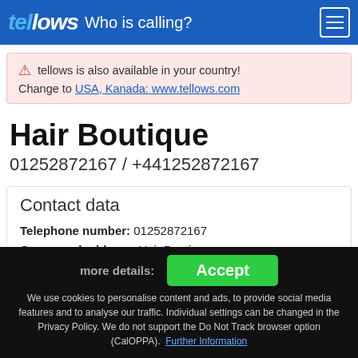tellows - Who is calling?
tellows is also available in your country! Change to USA, Kanada: www.tellows.com
Hair Boutique
01252872167 / +441252872167
Contact data
Telephone number: 01252872167
Owner and address: Hair Boutique 2 Frys Lane GU46 7TJ Yateley
City: Yateley - United Kingdom
more details:
We use cookies to personalise content and ads, to provide social media features and to analyse our traffic. Individual settings can be changed in the Privacy Policy. We do not support the Do Not Track browser option (CalOPPA). Further Information